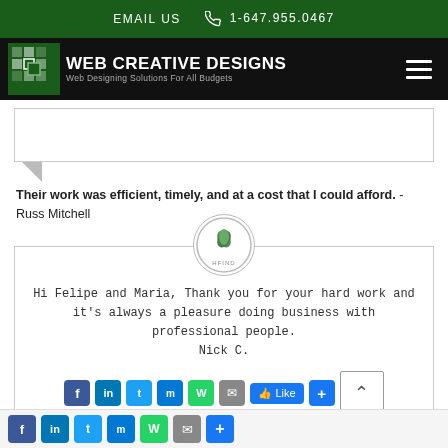EMAIL US   1-647.955.0467
[Figure (logo): Web Creative Designs logo with green mosaic icon, white text WEB CREATIVE DESIGNS, subtitle Web Designing Solutions For All Budgets, hamburger menu icon on right]
Their work was efficient, timely, and at a cost that I could afford. - Russ Mitchell
[Figure (logo): Circular logo with leaf/flower design and text HFIND around border]
Hi Felipe and Maria, Thank you for your hard work and it's always a pleasure doing business with professional people. Nick C.
Social sharing buttons: Facebook, LinkedIn, Twitter, Messenger, WhatsApp, Email, Like, +, scroll up button